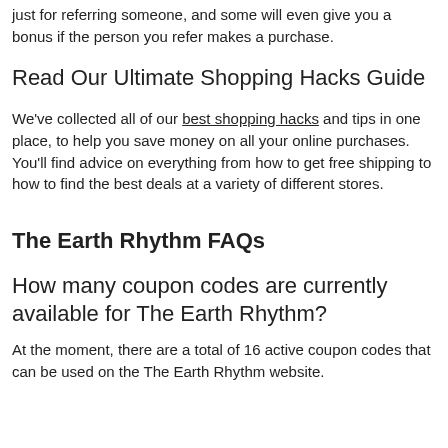just for referring someone, and some will even give you a bonus if the person you refer makes a purchase.
Read Our Ultimate Shopping Hacks Guide
We've collected all of our best shopping hacks and tips in one place, to help you save money on all your online purchases. You'll find advice on everything from how to get free shipping to how to find the best deals at a variety of different stores.
The Earth Rhythm FAQs
How many coupon codes are currently available for The Earth Rhythm?
At the moment, there are a total of 16 active coupon codes that can be used on the The Earth Rhythm website.